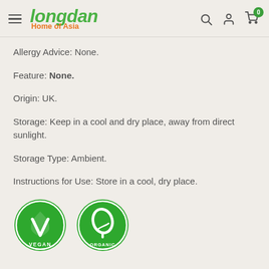Longdan Home of Asia
Allergy Advice: None.
Feature: None.
Origin: UK.
Storage: Keep in a cool and dry place, away from direct sunlight.
Storage Type: Ambient.
Instructions for Use: Store in a cool, dry place.
[Figure (logo): Vegan certification badge - green circle with white leaf/V symbol and VEGAN text]
[Figure (logo): Organic certification badge - green circle with white leaf symbol and ORGANIC text]